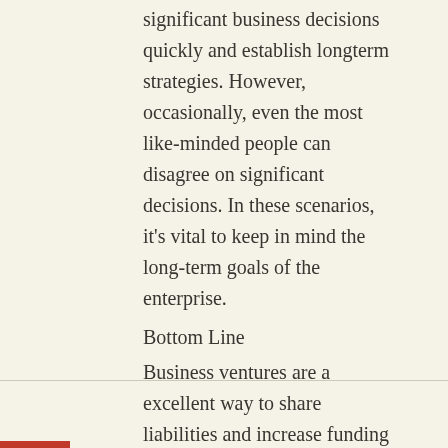significant business decisions quickly and establish longterm strategies. However, occasionally, even the most like-minded people can disagree on significant decisions. In these scenarios, it's vital to keep in mind the long-term goals of the enterprise.
Bottom Line
Business ventures are a excellent way to share liabilities and increase funding when establishing a new business. To earn a business partnership effective, it's crucial to get a partner that will allow you to earn fruitful choices for the business.
Tagged Business |